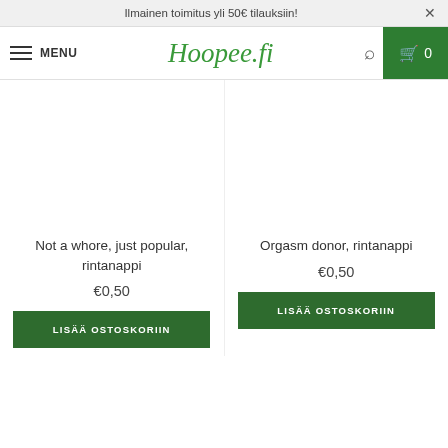Ilmainen toimitus yli 50€ tilauksiin!
Hoopee.fi — MENU — Search — Cart 0
Not a whore, just popular, rintanappi
€0,50
Orgasm donor, rintanappi
€0,50
LISÄÄ OSTOSKORIIN
LISÄÄ OSTOSKORIIN